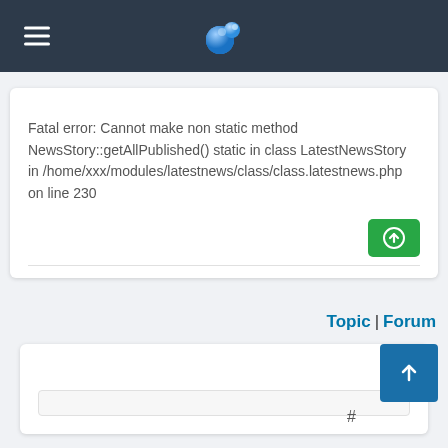[Figure (logo): Navigation bar with hamburger menu icon and blue bubble logo]
Fatal error: Cannot make non static method NewsStory::getAllPublished() static in class LatestNewsStory in /home/xxx/modules/latestnews/class/class.latestnews.php on line 230
[Figure (other): Green circular upload/reply button]
Topic | Forum
[Figure (other): Blue square scroll-to-top button with up arrow]
#